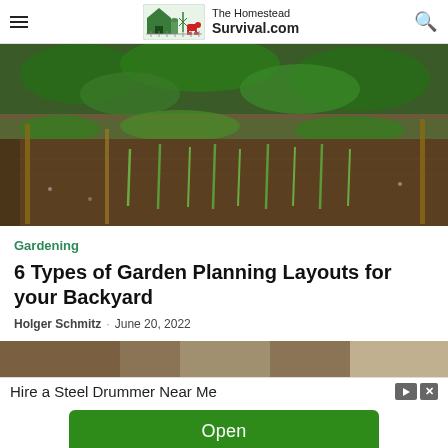The Homestead Survival.com
[Figure (photo): Overhead view of a vegetable garden with rows of onion shoots and leafy greens growing in dark soil, with wooden stakes.]
Gardening
6 Types of Garden Planning Layouts for your Backyard
Holger Schmitz · June 20, 2022
[Figure (photo): Partial view of a second garden/article photo, cropped at top of page section.]
Hire a Steel Drummer Near Me
Open
Ad